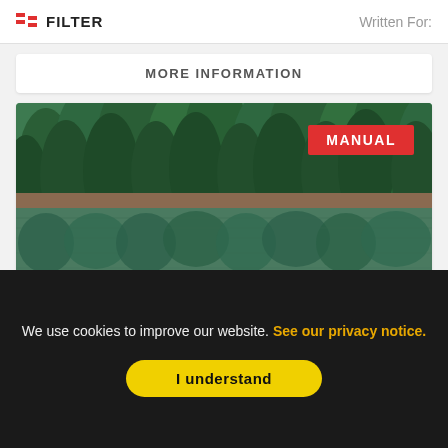FILTER   Written For:
MORE INFORMATION
[Figure (photo): Forest and lake reflection landscape photo with red 'MANUAL' badge overlay in top right]
2019 - ENGLISH - PRACTICAL
We use cookies to improve our website. See our privacy notice.
I understand